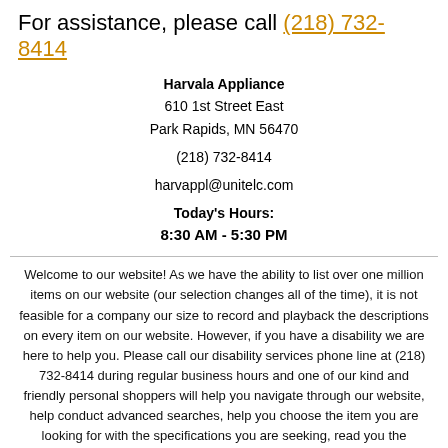For assistance, please call (218) 732-8414
Harvala Appliance
610 1st Street East
Park Rapids, MN 56470

(218) 732-8414

harvappl@unitelc.com
Today's Hours:
8:30 AM - 5:30 PM
Welcome to our website! As we have the ability to list over one million items on our website (our selection changes all of the time), it is not feasible for a company our size to record and playback the descriptions on every item on our website. However, if you have a disability we are here to help you. Please call our disability services phone line at (218) 732-8414 during regular business hours and one of our kind and friendly personal shoppers will help you navigate through our website, help conduct advanced searches, help you choose the item you are looking for with the specifications you are seeking, read you the specifications of any item and consult with you about the products themselves. There is no charge for the help of this personal shopper for anyone with a disability. Finally, your